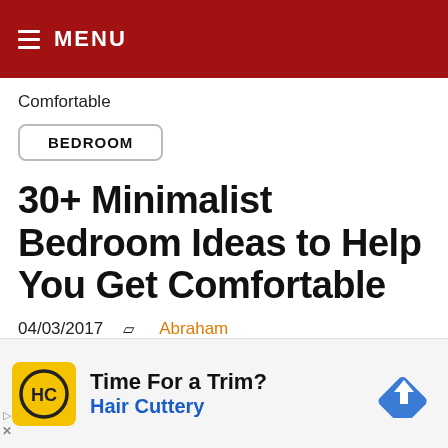≡ MENU
Comfortable
BEDROOM
30+ Minimalist Bedroom Ideas to Help You Get Comfortable
04/03/2017   Abraham
[Figure (screenshot): Advertisement: Time For a Trim? Hair Cuttery — with Hair Cuttery logo (yellow square with HC icon) and a blue diamond navigation arrow icon.]